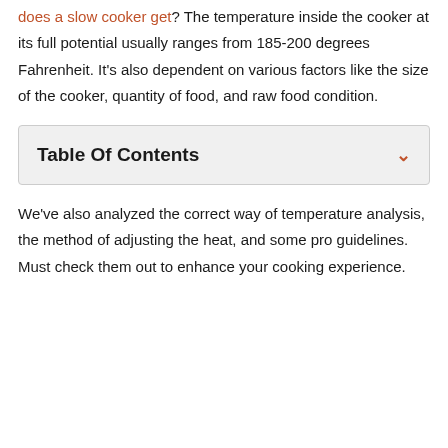does a slow cooker get? The temperature inside the cooker at its full potential usually ranges from 185-200 degrees Fahrenheit. It's also dependent on various factors like the size of the cooker, quantity of food, and raw food condition.
Table Of Contents
We've also analyzed the correct way of temperature analysis, the method of adjusting the heat, and some pro guidelines. Must check them out to enhance your cooking experience.